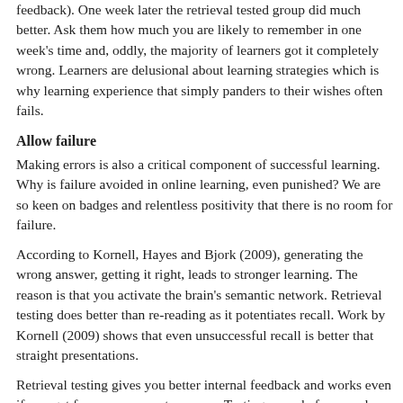feedback). One week later the retrieval tested group did much better. Ask them how much you are likely to remember in one week's time and, oddly, the majority of learners got it completely wrong. Learners are delusional about learning strategies which is why learning experience that simply panders to their wishes often fails.
Allow failure
Making errors is also a critical component of successful learning. Why is failure avoided in online learning, even punished? We are so keen on badges and relentless positivity that there is no room for failure.
According to Kornell, Hayes and Bjork (2009), generating the wrong answer, getting it right, leads to stronger learning. The reason is that you activate the brain's semantic network. Retrieval testing does better than re-reading as it potentiates recall. Work by Kornell (2009) shows that even unsuccessful recall is better that straight presentations.
Retrieval testing gives you better internal feedback and works even if you get few or no correct answers. Testing, even before you have accessed the learning experience, also helps learning. Once again, almost bizarrely, Metcalfe (2012) asked learners what worked best and they we
Interleaving